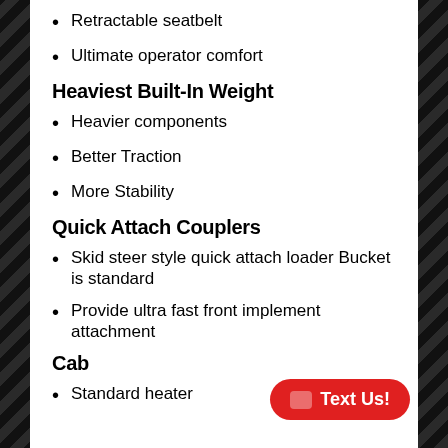Retractable seatbelt
Ultimate operator comfort
Heaviest Built-In Weight
Heavier components
Better Traction
More Stability
Quick Attach Couplers
Skid steer style quick attach loader Bucket is standard
Provide ultra fast front implement attachment
Cab
Standard heater